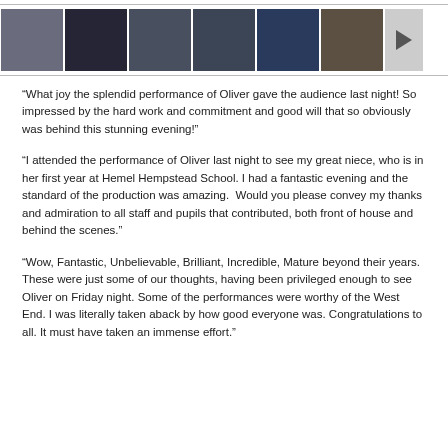[Figure (photo): A horizontal strip of six photo thumbnails showing scenes from the Oliver school production performance, followed by a forward arrow button indicating more images.]
“What joy the splendid performance of Oliver gave the audience last night! So impressed by the hard work and commitment and good will that so obviously was behind this stunning evening!”
“I attended the performance of Oliver last night to see my great niece, who is in her first year at Hemel Hempstead School. I had a fantastic evening and the standard of the production was amazing.  Would you please convey my thanks and admiration to all staff and pupils that contributed, both front of house and behind the scenes.”
“Wow, Fantastic, Unbelievable, Brilliant, Incredible, Mature beyond their years. These were just some of our thoughts, having been privileged enough to see Oliver on Friday night. Some of the performances were worthy of the West End. I was literally taken aback by how good everyone was. Congratulations to all. It must have taken an immense effort.”